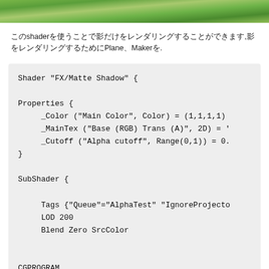[Figure (photo): Green foliage/nature photo at top of page]
このshaderを使うことで影だけをレンダリングすることができます,影をレンダリングするためにPlane、Makerを.
Shader "FX/Matte Shadow" {

Properties {
    _Color ("Main Color", Color) = (1,1,1,1)
    _MainTex ("Base (RGB) Trans (A)", 2D) = '
    _Cutoff ("Alpha cutoff", Range(0,1)) = 0.
}

SubShader {

    Tags {"Queue"="AlphaTest" "IgnoreProjecto
    LOD 200
    Blend Zero SrcColor


CGPROGRAM